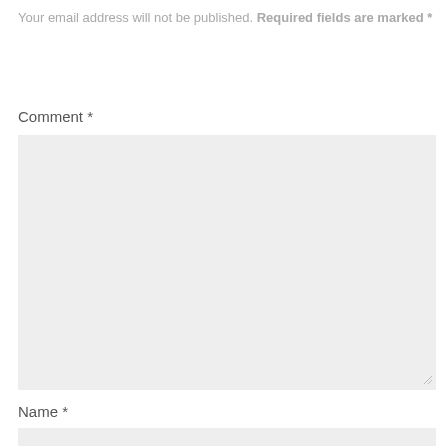Your email address will not be published. Required fields are marked *
Comment *
[Figure (other): Large empty comment text area input box with light gray background and resize handle in bottom right corner]
Name *
[Figure (other): Empty name text input field with light gray background]